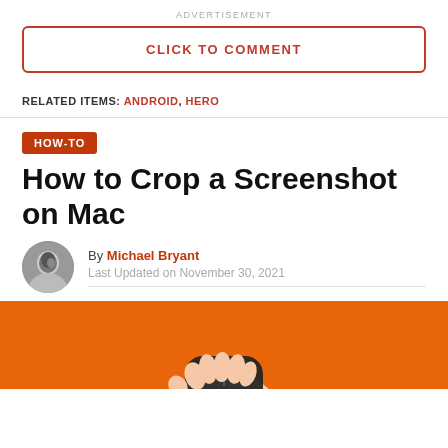ADVERTISEMENT
CLICK TO COMMENT
RELATED ITEMS: ANDROID, HERO
HOW-TO
How to Crop a Screenshot on Mac
By Michael Bryant
Last Updated on November 30, 2021
[Figure (photo): Orange background with a hand holding/using a computer mouse]